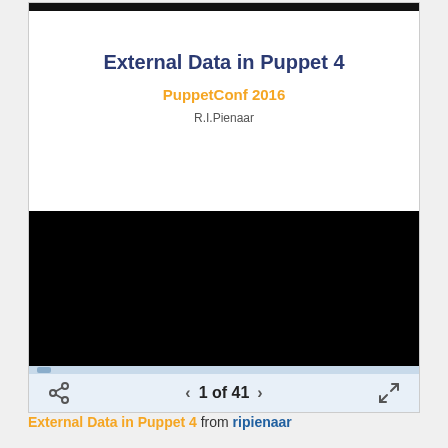External Data in Puppet 4
PuppetConf 2016
R.I.Pienaar
[Figure (screenshot): Black video player area embedded in slide viewer]
1 of 41
External Data in Puppet 4 from ripienaar